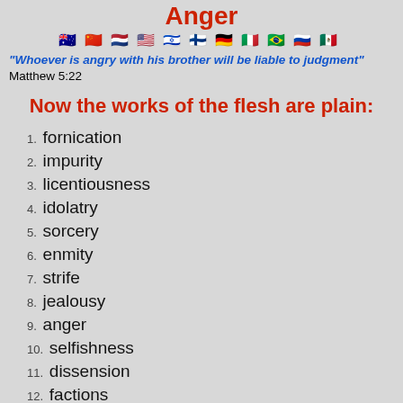Anger
[Figure (illustration): Row of national flag emoji icons]
“Whoever is angry with his brother will be liable to judgment” Matthew 5:22
Now the works of the flesh are plain:
1. fornication
2. impurity
3. licentiousness
4. idolatry
5. sorcery
6. enmity
7. strife
8. jealousy
9. anger
10. selfishness
11. dissension
12. factions
13. envy